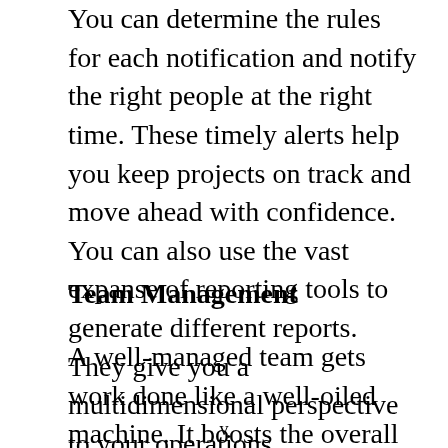You can determine the rules for each notification and notify the right people at the right time. These timely alerts help you keep projects on track and move ahead with confidence. You can also use the vast expanse of reporting tools to generate different reports. They give you a multidimensional perspective to your operations.
Team Management
A well-managed team gets work done like a well-oiled machine. It boosts the overall productivity of your department and, in turn, your company. This software offers a host of features to manage your...
v